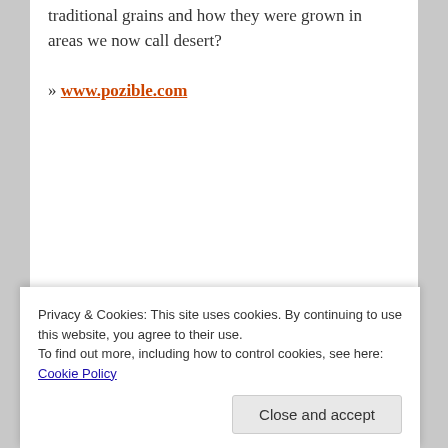traditional grains and how they were grown in areas we now call desert?
» www.pozible.com
Privacy & Cookies: This site uses cookies. By continuing to use this website, you agree to their use.
To find out more, including how to control cookies, see here: Cookie Policy
Close and accept